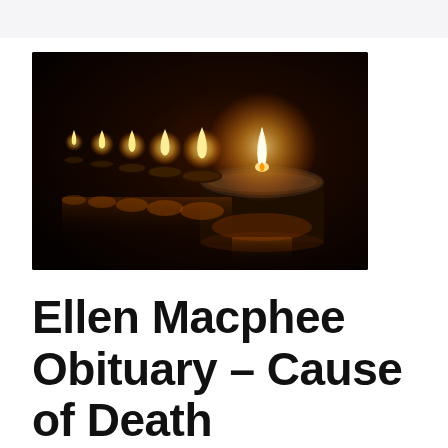[Figure (photo): Row of lit tealight candles against a dark background, with a close-up of the nearest candle flame glowing amber-orange, and reflections on the surface below.]
Ellen Macphee Obituary – Cause of Death